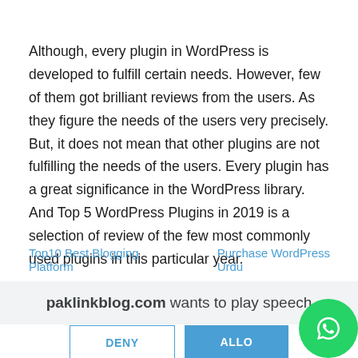Although, every plugin in WordPress is developed to fulfill certain needs. However, few of them got brilliant reviews from the users. As they figure the needs of the users very precisely. But, it does not mean that other plugins are not fulfilling the needs of the users. Every plugin has a great significance in the WordPress library. And Top 5 WordPress Plugins in 2019 is a selection of review of the few most commonly used plugins in this particular year.
Top10 Best Blogging Platform   Purchase WordPress Urdu
paklinkblog.com wants to play speech
DENY   ALLOW